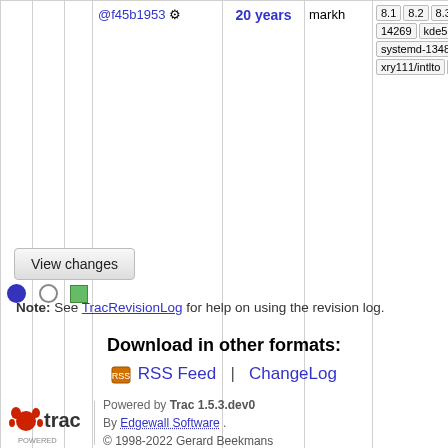|  |  |  | Rev | Age | Author | Branch |
| --- | --- | --- | --- | --- | --- | --- |
| ● | ○ | ■ | @f45b1953 ⚙ | 20 years | markh | 8.1  8.2  8.3  9.0  9.1  basic  bdubbs/svn  elog  gnome  initial-im  kde5-13430  kde  14269  kde5-1468  krejzi/svn  lazaru  nosym  perl-moc  qt5new  reorg  systemd-11177  systemd-13485  trunk  upgradedb  v1_0  v5_0  v5_  pre1  v5_1  v5_  pre1  xry111/intlto  xry111/test-20220 |
View changes
Note: See TracRevisionLog for help on using the revision log.
Download in other formats:
RSS Feed | ChangeLog
Powered by Trac 1.5.3.dev0
By Edgewall Software .
© 1998-2022 Gerard Beekmans